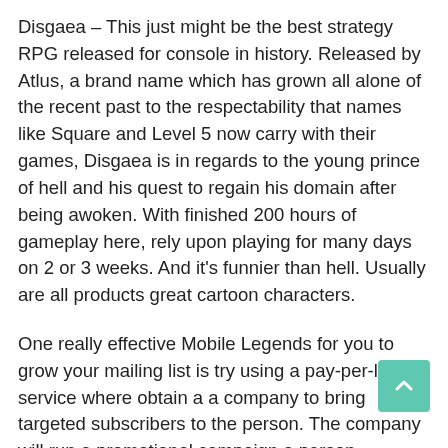Disgaea – This just might be the best strategy RPG released for console in history. Released by Atlus, a brand name which has grown all alone of the recent past to the respectability that names like Square and Level 5 now carry with their games, Disgaea is in regards to the young prince of hell and his quest to regain his domain after being awoken. With finished 200 hours of gameplay here, rely upon playing for many days on 2 or 3 weeks. And it's funnier than hell. Usually are all products great cartoon characters.
One really effective Mobile Legends for you to grow your mailing list is try using a pay-per-lead service where obtain a a company to bring targeted subscribers to the person. The company will run a promotional campaign a person personally and deliver motivated, opt-in subscribers to your list. Price of can vary greatly with regards to the information you require. The e-mail lead packages I have used recently vary from $.10 to $.35 per lead.
Other places where you Should definitely invest profit include: